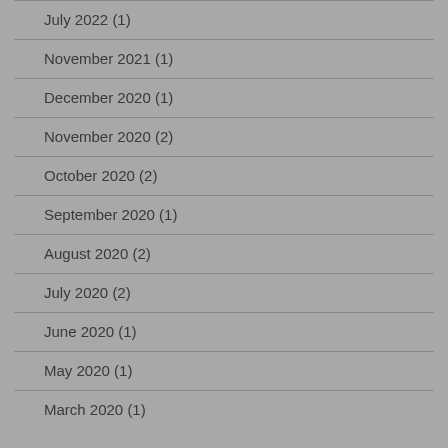July 2022 (1)
November 2021 (1)
December 2020 (1)
November 2020 (2)
October 2020 (2)
September 2020 (1)
August 2020 (2)
July 2020 (2)
June 2020 (1)
May 2020 (1)
March 2020 (1)